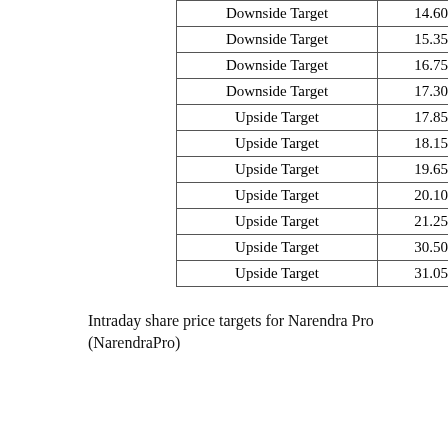|  |  |
| --- | --- |
| Downside Target | 14.60 |
| Downside Target | 15.35 |
| Downside Target | 16.75 |
| Downside Target | 17.30 |
| Upside Target | 17.85 |
| Upside Target | 18.15 |
| Upside Target | 19.65 |
| Upside Target | 20.10 |
| Upside Target | 21.25 |
| Upside Target | 30.50 |
| Upside Target | 31.05 |
Intraday share price targets for Narendra Pro (NarendraPro)
| Target Type | Value |
| --- | --- |
| Downside Intraday Target | 15.52 |
| Downside Intraday Target | 13.43 |